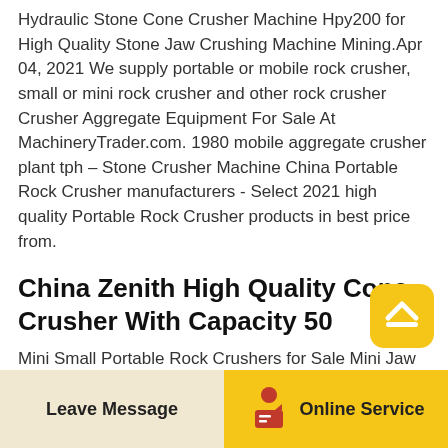Hydraulic Stone Cone Crusher Machine Hpy200 for High Quality Stone Jaw Crushing Machine Mining.Apr 04, 2021 We supply portable or mobile rock crusher, small or mini rock crusher and other rock crusher Crusher Aggregate Equipment For Sale At MachineryTrader.com. 1980 mobile aggregate crusher plant tph – Stone Crusher Machine China Portable Rock Crusher manufacturers - Select 2021 high quality Portable Rock Crusher products in best price from.
China Zenith High Quality Cone Crusher With Capacity 50
Mini Small Portable Rock Crushers for Sale Mini Jaw Crusher for Primary Size Reduction, Find Details about Small Jaw Crusher for Sale, Small Rock Crusher from Mini Small Portable Rock Crushers for Sale
[Figure (other): Yellow rounded square button with a white upward arrow/hat icon (scroll to top button)]
Leave Message | Online Service